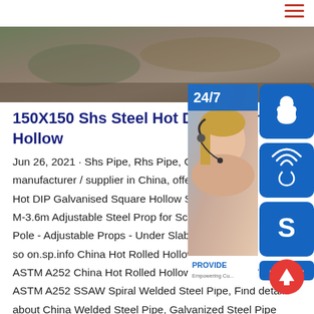Hamburger menu icon (top right)
[Figure (photo): Hero/banner photo of steel/industrial material, brownish-gray tones]
150X150 Shs Steel Hot DIP Galvanised Square Hollow
Jun 26, 2021 · Shs Pipe, Rhs Pipe, Galvanized manufacturer / supplier in China, offering 1 Hot DIP Galvanised Square Hollow Section M-3.6m Adjustable Steel Prop for Scaffoldi Pole - Adjustable Props - Under Slab Scaff so on.sp.info China Hot Rolled Hollow Sect ASTM A252 China Hot Rolled Hollow Section ERW Carbon ASTM A252 SSAW Spiral Welded Steel Pipe, Find details about China Welded Steel Pipe, Galvanized Steel Pipe Hot Rolled Hollow Section ERW Carbon ASTM A252 S Spiral Welded Steel Pipe, Shang...
[Figure (infographic): Right-side widget panel: 24/7 chat indicator, customer service representative photo, headset icon button, phone icon button, Skype icon button, PROVIDE Empowering Customers text, online live button]
[Figure (other): Scroll-to-top red circular button with upward arrow]